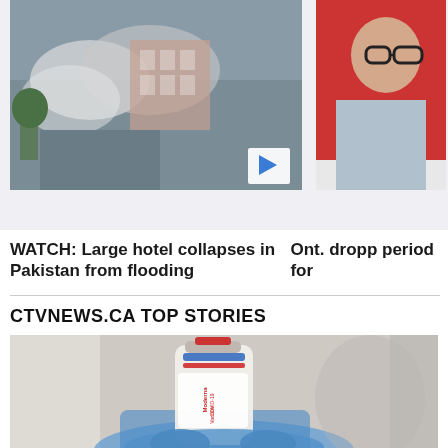[Figure (photo): Video thumbnail of a large building collapsing with smoke and debris, with a play button overlay]
[Figure (photo): Partial photo of a man wearing glasses, cropped on the right side]
WATCH: Large hotel collapses in Pakistan from flooding
Ont. dropp period for
CTVNEWS.CA TOP STORIES
[Figure (photo): A hand in blue medical gloves holding a Moderna COVID-19 vaccine vial, blurred background]